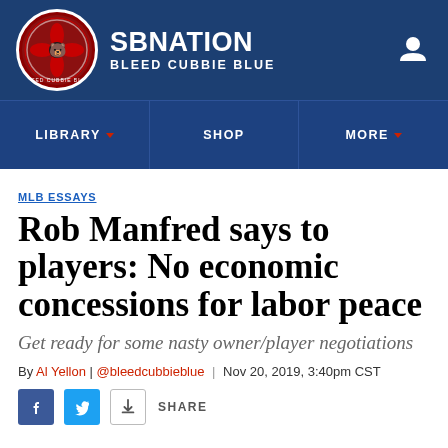SB NATION | BLEED CUBBIE BLUE
LIBRARY | SHOP | MORE
MLB ESSAYS
Rob Manfred says to players: No economic concessions for labor peace
Get ready for some nasty owner/player negotiations
By Al Yellon | @bleedcubbieblue | Nov 20, 2019, 3:40pm CST